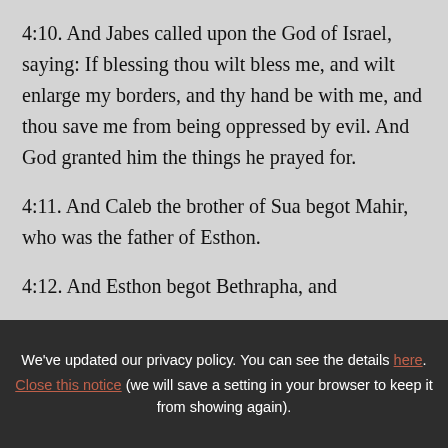4:10. And Jabes called upon the God of Israel, saying: If blessing thou wilt bless me, and wilt enlarge my borders, and thy hand be with me, and thou save me from being oppressed by evil. And God granted him the things he prayed for.
4:11. And Caleb the brother of Sua begot Mahir, who was the father of Esthon.
4:12. And Esthon begot Bethrapha, and
We've updated our privacy policy. You can see the details here. Close this notice (we will save a setting in your browser to keep it from showing again).